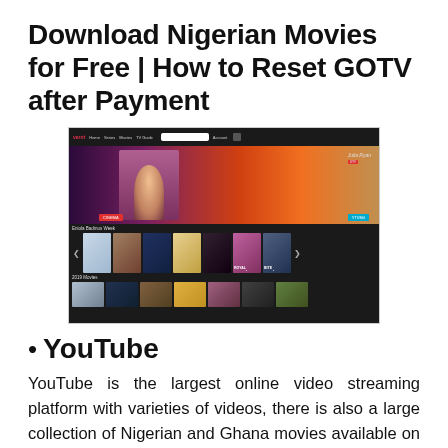Download Nigerian Movies for Free | How to Reset GOTV after Payment
[Figure (screenshot): Screenshot of a Nigerian movie streaming website showing a navigation bar, hero banner with a FREE label and a woman's photo with warm glowing light, movie thumbnails in rows labeled 'Eniola Badmus Week' and '2019 Movies']
YouTube
YouTube is the largest online video streaming platform with varieties of videos, there is also a large collection of Nigerian and Ghana movies available on YouTube, as you have to